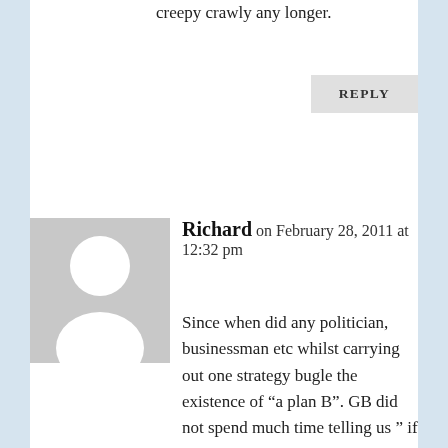creepy crawly any longer.
REPLY
[Figure (illustration): Generic user avatar — grey square with white silhouette of a person]
Richard on February 28, 2011 at 12:32 pm
Since when did any politician, businessman etc whilst carrying out one strategy bugle the existence of “a plan B”. GB did not spend much time telling us ” if we return to boom and bust I will.....” TB never said ” if on the other hand there were to be no